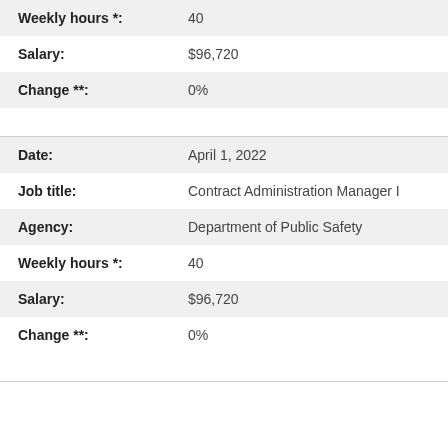| Weekly hours *: | 40 |
| Salary: | $96,720 |
| Change **: | 0% |
| Date: | April 1, 2022 |
| Job title: | Contract Administration Manager I |
| Agency: | Department of Public Safety |
| Weekly hours *: | 40 |
| Salary: | $96,720 |
| Change **: | 0% |